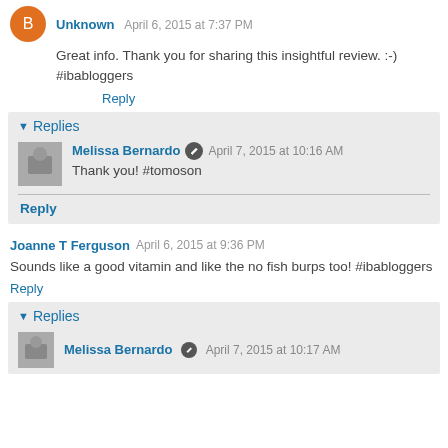Unknown April 6, 2015 at 7:37 PM
Great info. Thank you for sharing this insightful review. :-) #ibabloggers
Reply
Replies
Melissa Bernardo April 7, 2015 at 10:16 AM
Thank you! #tomoson
Reply
Joanne T Ferguson April 6, 2015 at 9:36 PM
Sounds like a good vitamin and like the no fish burps too! #ibabloggers
Reply
Replies
Melissa Bernardo April 7, 2015 at 10:17 AM